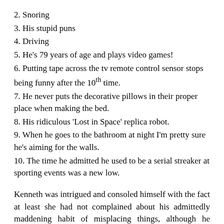2. Snoring
3. His stupid puns
4. Driving
5. He's 79 years of age and plays video games!
6. Putting tape across the tv remote control sensor stops being funny after the 10th time.
7. He never puts the decorative pillows in their proper place when making the bed.
8. His ridiculous 'Lost in Space' replica robot.
9. When he goes to the bathroom at night I'm pretty sure he's aiming for the walls.
10. The time he admitted he used to be a serial streaker at sporting events was a new low.
Kenneth was intrigued and consoled himself with the fact at least she had not complained about his admittedly maddening habit of misplacing things, although he guessed that, had the list been